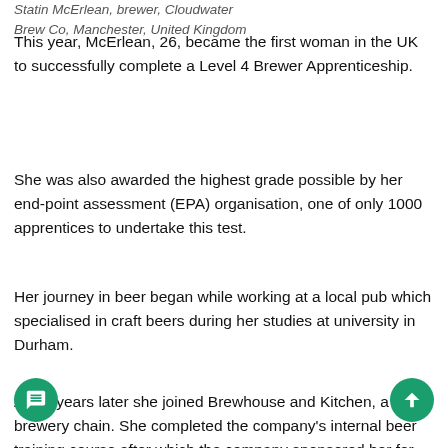Statin McErlean, brewer, Cloudwater Brew Co, Manchester, United Kingdom
This year, McErlean, 26, became the first woman in the UK to successfully complete a Level 4 Brewer Apprenticeship.
She was also awarded the highest grade possible by her end-point assessment (EPA) organisation, one of only 1000 apprentices to undertake this test.
Her journey in beer began while working at a local pub which specialised in craft beers during her studies at university in Durham.
A few years later she joined Brewhouse and Kitchen, a brewery chain. She completed the company's internal beer training course after which the company sponsored her for the L4 Brewer apprenticeship.